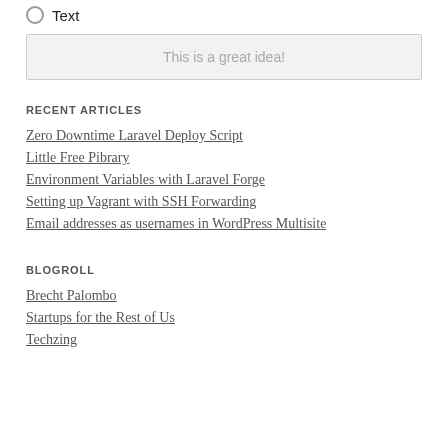Text
This is a great idea!
RECENT ARTICLES
Zero Downtime Laravel Deploy Script
Little Free Pibrary
Environment Variables with Laravel Forge
Setting up Vagrant with SSH Forwarding
Email addresses as usernames in WordPress Multisite
BLOGROLL
Brecht Palombo
Startups for the Rest of Us
Techzing